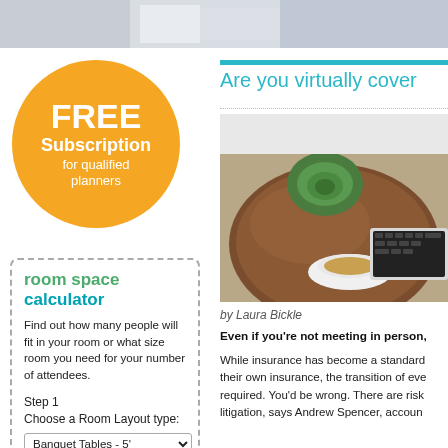[Figure (photo): Top banner photo showing a person in business attire, partially visible]
[Figure (infographic): Orange circular badge reading FREE Subscription for qualified planners]
room space calculator
Find out how many people will fit in your room or what size room you need for your number of attendees.
Step 1
Choose a Room Layout type:
[Figure (photo): Photo of a wooden desk with a succulent plant, a cup of tea, and a laptop keyboard visible from above]
Are you virtually cover
by Laura Bickle
Even if you're not meeting in person,
While insurance has become a standard... their own insurance, the transition of eve... required. You'd be wrong. There are risk... litigation, says Andrew Spencer, accoun...